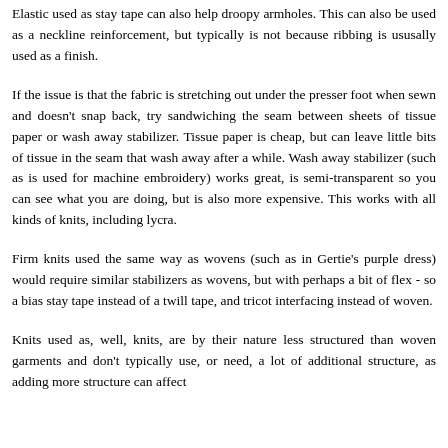Elastic used as stay tape can also help droopy armholes. This can also be used as a neckline reinforcement, but typically is not because ribbing is ususally used as a finish.
If the issue is that the fabric is stretching out under the presser foot when sewn and doesn't snap back, try sandwiching the seam between sheets of tissue paper or wash away stabilizer. Tissue paper is cheap, but can leave little bits of tissue in the seam that wash away after a while. Wash away stabilizer (such as is used for machine embroidery) works great, is semi-transparent so you can see what you are doing, but is also more expensive. This works with all kinds of knits, including lycra.
Firm knits used the same way as wovens (such as in Gertie's purple dress) would require similar stabilizers as wovens, but with perhaps a bit of flex - so a bias stay tape instead of a twill tape, and tricot interfacing instead of woven.
Knits used as, well, knits, are by their nature less structured than woven garments and don't typically use, or need, a lot of additional structure, as adding more structure can affect